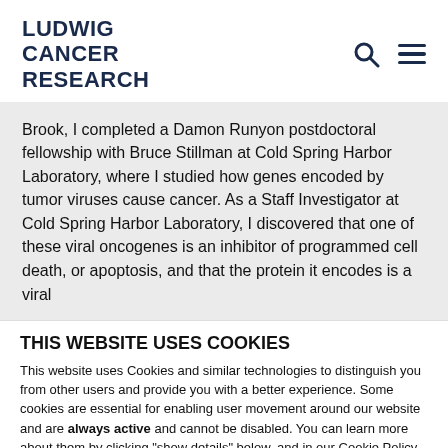LUDWIG CANCER RESEARCH
Brook, I completed a Damon Runyon postdoctoral fellowship with Bruce Stillman at Cold Spring Harbor Laboratory, where I studied how genes encoded by tumor viruses cause cancer. As a Staff Investigator at Cold Spring Harbor Laboratory, I discovered that one of these viral oncogenes is an inhibitor of programmed cell death, or apoptosis, and that the protein it encodes is a viral
THIS WEBSITE USES COOKIES
This website uses Cookies and similar technologies to distinguish you from other users and provide you with a better experience. Some cookies are essential for enabling user movement around our website and are always active and cannot be disabled. You can learn more about them by clicking “show details” below, and in our Cookie Policy. Your acceptance of our Cookie Policy is deemed to occur when you press the “OK” button below.
OK
Essential  Preferences  Statistics  Marketing  Show details